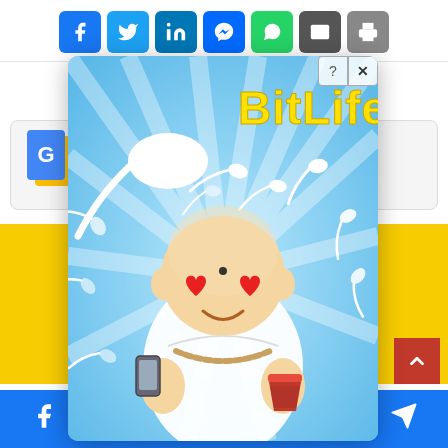[Figure (screenshot): Social media share buttons bar: Facebook (blue), Twitter (light blue), LinkedIn (dark blue), Messenger (blue), WhatsApp (green), Email (gray), Print (gray)]
[Figure (screenshot): Large black circular close/dismiss button with white X in center]
[Figure (screenshot): Google Ads placeholder bar with Google card icon and partial text]
[Figure (screenshot): Yellow banner with bold text 'RE...OM']
[Figure (screenshot): BitLife mobile game advertisement overlay showing cartoon Buddha baby with heart eyes holding a phone and coffee cup, surrounded by sperm cells, with 'BitLife' logo in yellow text on blue background]
[Figure (screenshot): Blue Facebook share bottom bar with Facebook and Telegram icons, and red scroll-to-top button]